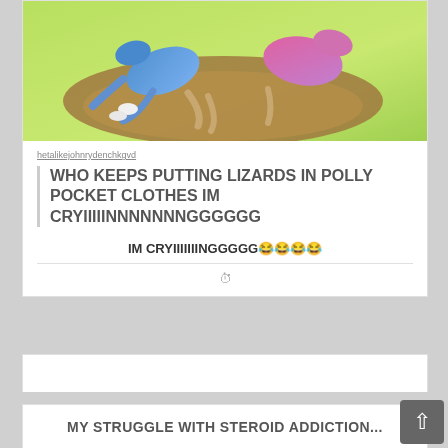[Figure (photo): Lizards dressed in colorful Polly Pocket clothes, sitting in a green plastic container]
hetalikejohnrydenchkgvd
WHO KEEPS PUTTING LIZARDS IN POLLY POCKET CLOTHES IM CRYIIIIINNNNNNNGGGGGG
IM CRYIIIIIIINGGGGG😂😂😂😂
MY STRUGGLE WITH STEROID ADDICTION...